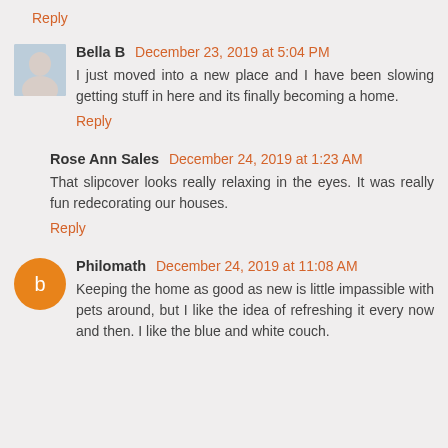Reply
Bella B  December 23, 2019 at 5:04 PM
I just moved into a new place and I have been slowing getting stuff in here and its finally becoming a home.
Reply
Rose Ann Sales  December 24, 2019 at 1:23 AM
That slipcover looks really relaxing in the eyes. It was really fun redecorating our houses.
Reply
Philomath  December 24, 2019 at 11:08 AM
Keeping the home as good as new is little impassible with pets around, but I like the idea of refreshing it every now and then. I like the blue and white couch.